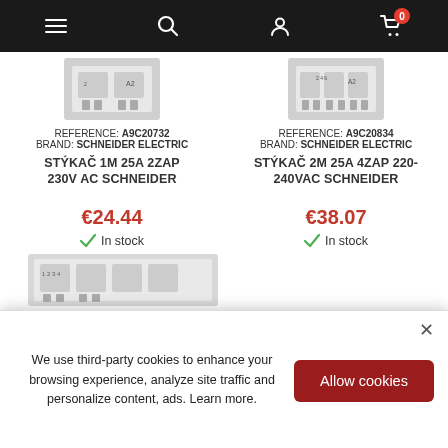Navigation bar with menu, search, account, and cart icons
[Figure (photo): Product image of Schneider Electric contactor A9C20732]
REFERENCE: A9C20732
BRAND: SCHNEIDER ELECTRIC
STÝKAČ 1M 25A 2ZAP 230V AC SCHNEIDER
€24.44
In stock
[Figure (photo): Product image of Schneider Electric contactor A9C20834]
REFERENCE: A9C20834
BRAND: SCHNEIDER ELECTRIC
STÝKAČ 2M 25A 4ZAP 220-240VAC SCHNEIDER
€38.07
In stock
[Figure (photo): Partial product image of a third Schneider Electric contactor]
We use third-party cookies to enhance your browsing experience, analyze site traffic and personalize content, ads. Learn more.
Allow cookies